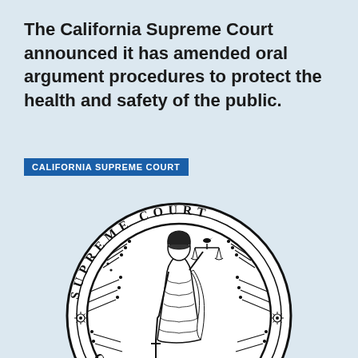The California Supreme Court announced it has amended oral argument procedures to protect the health and safety of the public.
CALIFORNIA SUPREME COURT
[Figure (illustration): Seal of the Supreme Court of California showing Lady Justice holding scales and a sword, surrounded by circular text reading SUPREME COURT OF CALIFORNIA]